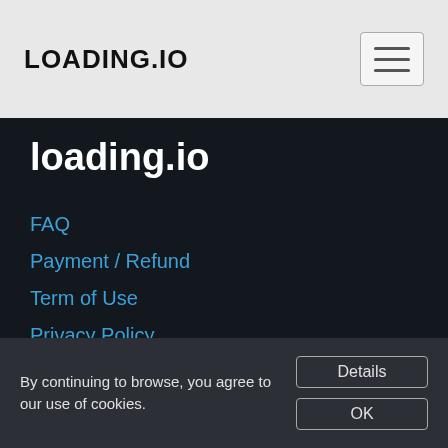LOADING.IO
loading.io
FAQ
Payment / Refund
Term of Use
Privacy Policy
License
Contact Us
About Us
[Figure (illustration): Social media icons: Facebook, Twitter, GitHub in blue]
By continuing to browse, you agree to our use of cookies.